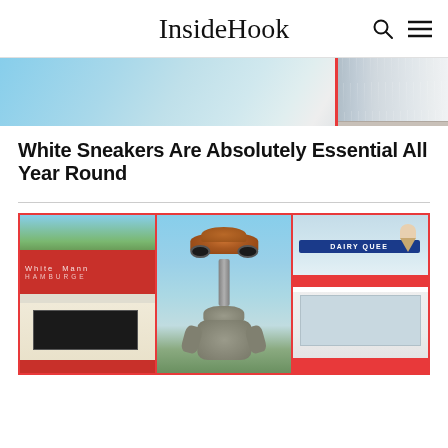InsideHook
[Figure (photo): Partial view of white sneakers against a light blue background with a red accent stripe]
White Sneakers Are Absolutely Essential All Year Round
[Figure (photo): Three-panel collage: left panel shows White Manna Hamburgers diner exterior with red signage; center panel shows a gorilla statue holding a VW Beetle car aloft on a pedestal against blue sky; right panel shows a classic Dairy Queen restaurant exterior in winter]